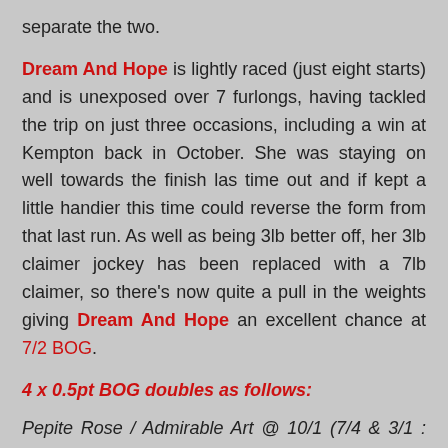separate the two.
Dream And Hope is lightly raced (just eight starts) and is unexposed over 7 furlongs, having tackled the trip on just three occasions, including a win at Kempton back in October. She was staying on well towards the finish las time out and if kept a little handier this time could reverse the form from that last run. As well as being 3lb better off, her 3lb claimer jockey has been replaced with a 7lb claimer, so there's now quite a pull in the weights giving Dream And Hope an excellent chance at 7/2 BOG.
4 x 0.5pt BOG doubles as follows:
Pepite Rose / Admirable Art @ 10/1 (7/4 & 3/1 : BetVictor & Bet365)
Pepite Rose / Dream And Hope @ 11.38/1 (7/4 & 7/2